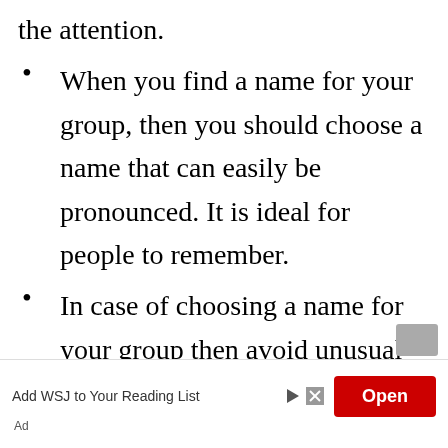the attention.
When you find a name for your group, then you should choose a name that can easily be pronounced. It is ideal for people to remember.
In case of choosing a name for your group then avoid unusual and rare words. Dont need to show more creativity in your
Add WSJ to Your Reading List
Open
Ad